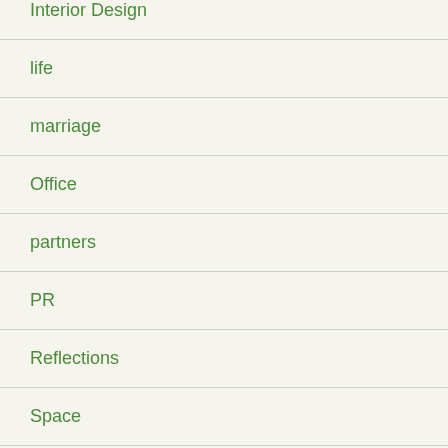Interior Design
life
marriage
Office
partners
PR
Reflections
Space
Training